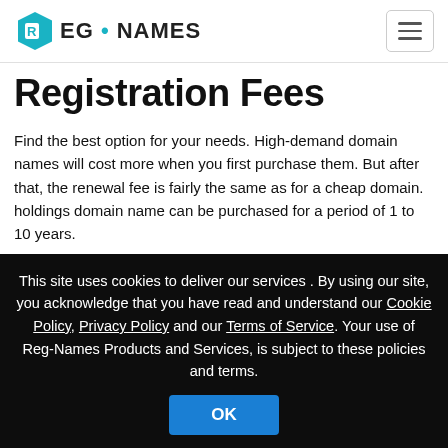REG • NAMES
Registration Fees
Find the best option for your needs. High-demand domain names will cost more when you first purchase them. But after that, the renewal fee is fairly the same as for a cheap domain. holdings domain name can be purchased for a period of 1 to 10 years.
This site uses cookies to deliver our services . By using our site, you acknowledge that you have read and understand our Cookie Policy, Privacy Policy and our Terms of Service. Your use of Reg-Names Products and Services, is subject to these policies and terms.
OK
More_information..